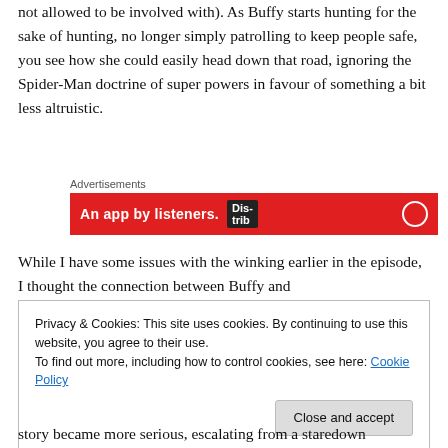not allowed to be involved with). As Buffy starts hunting for the sake of hunting, no longer simply patrolling to keep people safe, you see how she could easily head down that road, ignoring the Spider-Man doctrine of super powers in favour of something a bit less altruistic.
[Figure (screenshot): Red advertisement banner for an app, with text 'An app by listeners.' and a badge reading 'Dis-trib' and a circular icon, under the label 'Advertisements']
While I have some issues with the winking earlier in the episode, I thought the connection between Buffy and
Privacy & Cookies: This site uses cookies. By continuing to use this website, you agree to their use.
To find out more, including how to control cookies, see here: Cookie Policy
story became more serious, escalating from a staredown